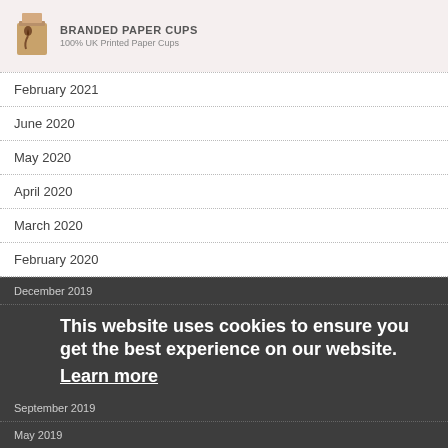BRANDED PAPER CUPS
100% UK Printed Paper Cups
February 2021
June 2020
May 2020
April 2020
March 2020
February 2020
December 2019
September 2019
May 2019
April 2019
February 2019
This website uses cookies to ensure you get the best experience on our website.
Learn more
Got it!
November 2018